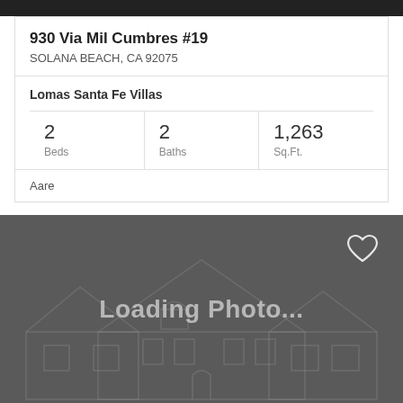930 Via Mil Cumbres #19
SOLANA BEACH, CA 92075
Lomas Santa Fe Villas
| Beds | Baths | Sq.Ft. |
| --- | --- | --- |
| 2 | 2 | 1,263 |
Aare
[Figure (illustration): Property photo placeholder showing a house outline drawing on a dark gray background with 'Loading Photo...' text overlay and a heart/favorite icon in the top right corner.]